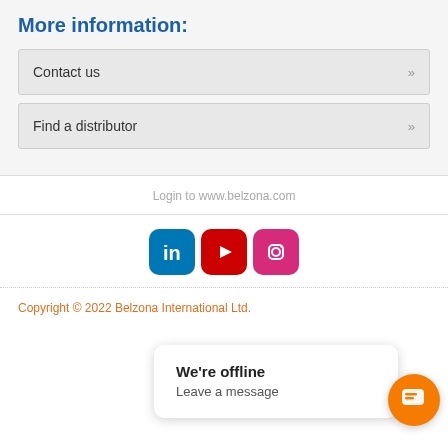More information:
Contact us »
Find a distributor »
Login to www.belzona.com
[Figure (logo): LinkedIn, YouTube, and Instagram social media icons side by side]
Copyright © 2022 Belzona International Ltd.
We're offline
Leave a message